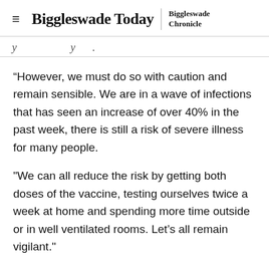Biggleswade Today | Biggleswade Chronicle
(partial headline text, cropped)
“However, we must do so with caution and remain sensible. We are in a wave of infections that has seen an increase of over 40% in the past week, there is still a risk of severe illness for many people.
"We can all reduce the risk by getting both doses of the vaccine, testing ourselves twice a week at home and spending more time outside or in well ventilated rooms. Let’s all remain vigilant."